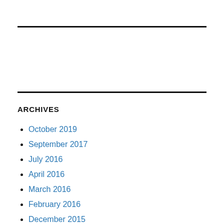ARCHIVES
October 2019
September 2017
July 2016
April 2016
March 2016
February 2016
December 2015